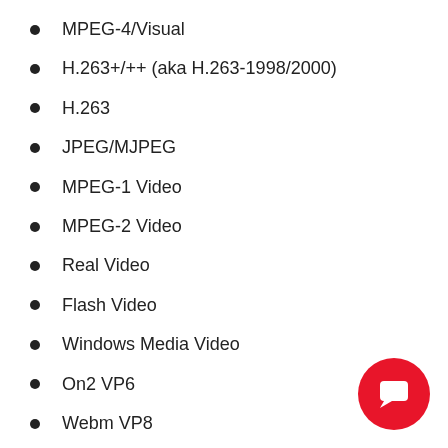MPEG-4/Visual
H.263+/++ (aka H.263-1998/2000)
H.263
JPEG/MJPEG
MPEG-1 Video
MPEG-2 Video
Real Video
Flash Video
Windows Media Video
On2 VP6
Webm VP8
Webm VP9
dvb/dvd subtitle